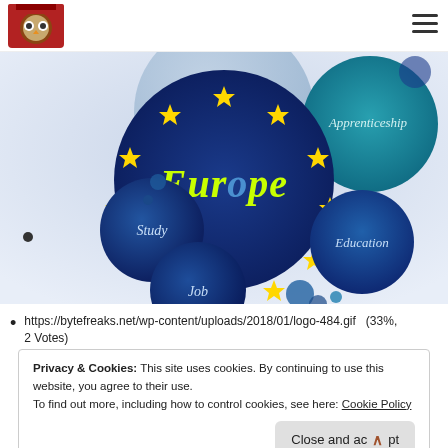[Figure (screenshot): Website header with owl mascot logo on left and hamburger menu icon on right]
[Figure (illustration): Europe-themed decorative illustration with EU flag stars, blue bubbles labeled Study, Job, Education, Apprenticeship on navy/blue background]
https://bytefreaks.net/wp-content/uploads/2018/01/logo-484.gif   (33%, 2 Votes)
Privacy & Cookies: This site uses cookies. By continuing to use this website, you agree to their use.
To find out more, including how to control cookies, see here: Cookie Policy
Close and accept